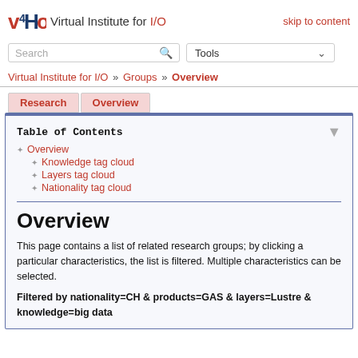Virtual Institute for I/O — skip to content
Search — Tools
Virtual Institute for I/O » Groups » Overview
Research | Overview
Table of Contents
Overview
Knowledge tag cloud
Layers tag cloud
Nationality tag cloud
Overview
This page contains a list of related research groups; by clicking a particular characteristics, the list is filtered. Multiple characteristics can be selected.
Filtered by nationality=CH & products=GAS & layers=Lustre & knowledge=big data